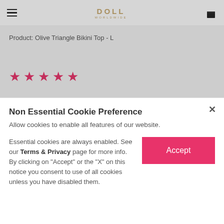DOLL WORLDWIDE — navigation bar with hamburger menu and bag icon
Product: Olive Triangle Bikini Top - L
[Figure (other): Five pink/red star rating icons]
" Top is super cute and fits perfectly!
Non Essential Cookie Preference
Allow cookies to enable all features of our website.
Essential cookies are always enabled. See our Terms & Privacy page for more info. By clicking on "Accept" or the "X" on this notice you consent to use of all cookies unless you have disabled them.